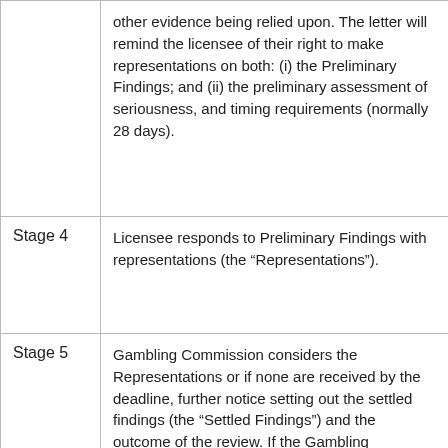| Stage | Description |
| --- | --- |
|  | other evidence being relied upon.  The letter will remind the licensee of their right to make representations on both: (i) the Preliminary Findings; and (ii) the preliminary assessment of seriousness, and timing requirements (normally 28 days). |
| Stage 4 | Licensee responds to Preliminary Findings with representations (the “Representations”). |
| Stage 5 | Gambling Commission considers the Representations or if none are received by the deadline, further notice setting out the settled findings (the “Settled Findings”) and the outcome of the review.  If the Gambling Commission is minded to impose a financial penalty, the licensee will be given a further opportunity to make representations about the proposed financial penalty.  The licensee may accept the outcome of |